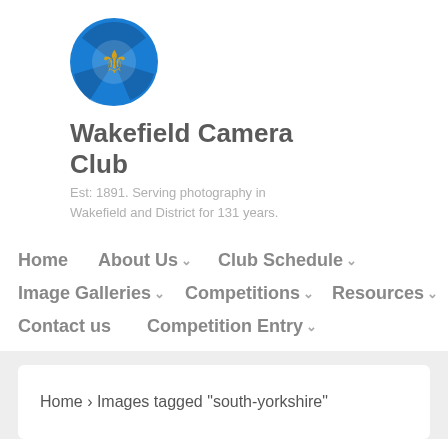[Figure (logo): Wakefield Camera Club circular logo with blue camera aperture and gold fleur-de-lis in center]
Wakefield Camera Club
Est: 1891. Serving photography in Wakefield and District for 131 years.
Home
About Us
Club Schedule
Image Galleries
Competitions
Resources
Contact us
Competition Entry
Home › Images tagged "south-yorkshire"